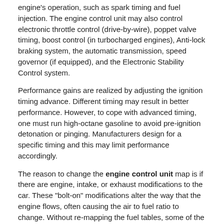engine's operation, such as spark timing and fuel injection. The engine control unit may also control electronic throttle control (drive-by-wire), poppet valve timing, boost control (in turbocharged engines), Anti-lock braking system, the automatic transmission, speed governor (if equipped), and the Electronic Stability Control system.
Performance gains are realized by adjusting the ignition timing advance. Different timing may result in better performance. However, to cope with advanced timing, one must run high-octane gasoline to avoid pre-ignition detonation or pinging. Manufacturers design for a specific timing and this may limit performance accordingly.
The reason to change the engine control unit map is if there are engine, intake, or exhaust modifications to the car. These "bolt-on" modifications alter the way that the engine flows, often causing the air to fuel ratio to change. Without re-mapping the fuel tables, some of the performance gains from the modifications may not be realized.
A poorly tuned engine control unit can result in decreased performance, driveability, and may even cause engine damage.
The most common way to "upgrade" the engine control unit is using either plug in modules as mentioned above or using a specialist tuner who will use an On Board Diagnostics Flash tool. These devices